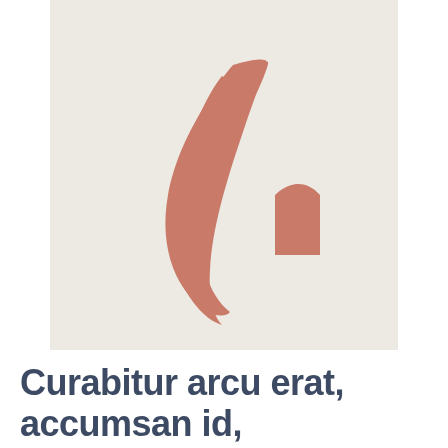[Figure (logo): An Atlassian-style logo mark on a light beige/cream background. Two shapes in a muted terracotta/salmon color: a large crescent/teardrop shape on the left leaning right, and a smaller triangle on the right, together forming an abstract letter A or mountain peaks.]
Curabitur arcu erat, accumsan id,